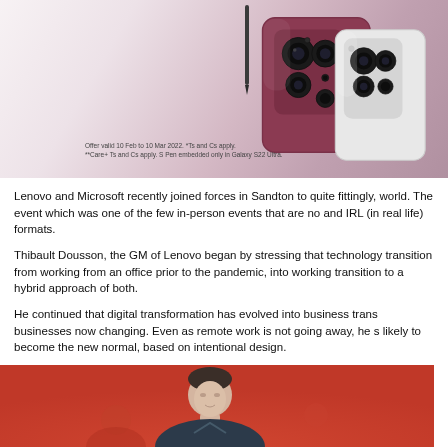[Figure (photo): Samsung Galaxy S22 Ultra smartphones in burgundy/dark pink and white colors showing rear camera array, with a stylus pen, on a light gradient background. Small disclaimer text at bottom left of image.]
Lenovo and Microsoft recently joined forces in Sandton to quite fittingly, world. The event which was one of the few in-person events that are no and IRL (in real life) formats.
Thibault Dousson, the GM of Lenovo began by stressing that technology transition from working from an office prior to the pandemic, into working transition to a hybrid approach of both.
He continued that digital transformation has evolved into business trans businesses now changing. Even as remote work is not going away, he s likely to become the new normal, based on intentional design.
[Figure (photo): A man (Thibault Dousson) speaking on a stage with an orange/red background. The photo is cropped showing the upper body and face of the presenter.]